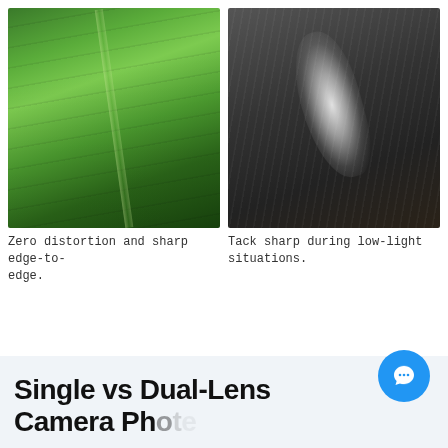[Figure (photo): Close-up photo of large green banana/tropical leaves with sharp detail, showing leaf veins and vivid green color with light and shadow.]
[Figure (photo): Aerial or elevated photo of dark water (ocean or river) with a white wave or wake splash visible, taken in low-light conditions showing rippled water surface.]
Zero distortion and sharp edge-to-edge.
Tack sharp during low-light situations.
Single vs Dual-Lens Camera Ph e